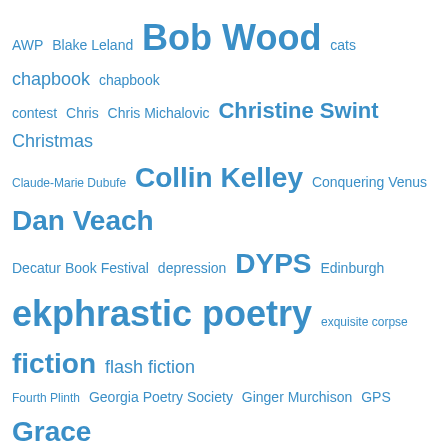[Figure (other): Tag cloud / word cloud featuring literary and poetry-related terms in various sizes, all in blue. Larger terms include Poetry, publishing, Karen Head, Bob Wood, ekphrastic poetry, La Petite Mort, Collin Kelley, Dan Veach, NaNoWriMo, Publication, fiction, DYPS, Christine Swint. Smaller terms include AWP, Blake Leland, cats, chapbook, contest, Chris, Chris Michalovic, Christmas, Claude-Marie Dubufe, Conquering Venus, Decatur Book Festival, depression, Edinburgh, exquisite corpse, flash fiction, Fourth Plinth, Georgia Poetry Society, Ginger Murchison, GPS, Grace Bauer, Hecate Applebough, inspiration, Ivy Alvarez, Java Monkey, Julie Bloemeke, Kodac Harrison, mythology, narrative poetry, National Novel Writing Month, novel, ocean, poem, PoetryAtlanta, poetry reading, postcards, publications, reading, rejections, revision, Robert Lee Brewer, Robin Kemp, Rockvale Writer's Colony, Rupert Fike, Scotland, Sibley, Sisters.]